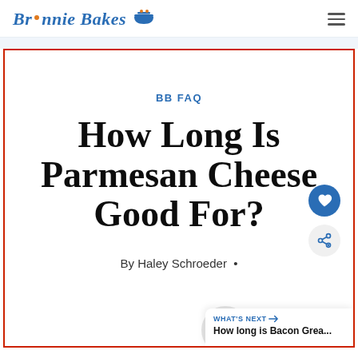Bronnie Bakes
BB FAQ
How Long Is Parmesan Cheese Good For?
By Haley Schroeder •